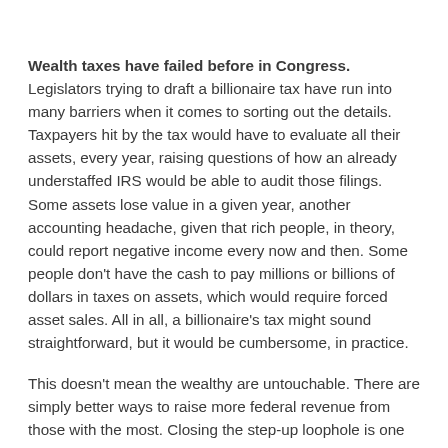Wealth taxes have failed before in Congress. Legislators trying to draft a billionaire tax have run into many barriers when it comes to sorting out the details. Taxpayers hit by the tax would have to evaluate all their assets, every year, raising questions of how an already understaffed IRS would be able to audit those filings. Some assets lose value in a given year, another accounting headache, given that rich people, in theory, could report negative income every now and then. Some people don't have the cash to pay millions or billions of dollars in taxes on assets, which would require forced asset sales. All in all, a billionaire's tax might sound straightforward, but it would be cumbersome, in practice.
This doesn't mean the wealthy are untouchable. There are simply better ways to raise more federal revenue from those with the most. Closing the step-up loophole is one of them. Doing that would require families to pay lots of taxes on assets when the owner dies, especially if Congress set the tax rate equal to the top income tax